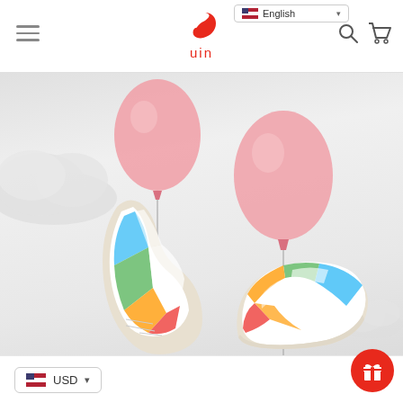English | uin | USD
[Figure (photo): Two colorful tie-dye patterned sneakers floating in the air, each attached to a pink balloon, against a light gray cloudy background. Left shoe shows sole/bottom view floating higher, right shoe shows side view. Whimsical product photography for uin footwear brand.]
USD